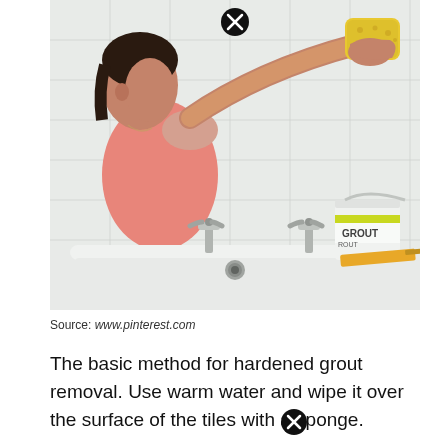[Figure (photo): A woman in a pink tank top wiping white bathroom tiles with a yellow sponge. A bathtub with chrome faucets is visible in the foreground, along with a white bucket of grout on the tub ledge. A black X (close/dismiss) button appears at the top center of the image.]
Source: www.pinterest.com
The basic method for hardened grout removal. Use warm water and wipe it over the surface of the tiles with a sponge.